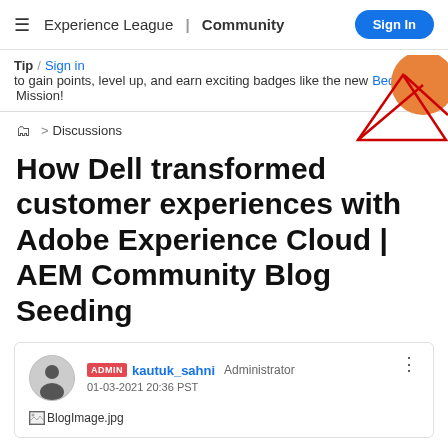Experience League | Community  Sign In
Tip / Sign in to gain points, level up, and earn exciting badges like the new Bedrock Mission!
[Figure (illustration): Decorative geometric graphic with red triangle lines and orange circle in upper right corner]
🗂 > Discussions
How Dell transformed customer experiences with Adobe Experience Cloud | AEM Community Blog Seeding
ADMIN kautuk_sahni Administrator
01-03-2021 20:36 PST
[Figure (photo): BlogImage.jpg placeholder image icon with filename label]